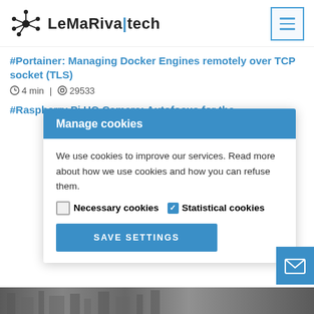LeMaRiva|tech
#Portainer: Managing Docker Engines remotely over TCP socket (TLS)
4 min | 29533
#Raspberry Pi HQ Camera: Autofocus for the Telephoto lens capability
Manage cookies
We use cookies to improve our services. Read more about how we use cookies and how you can refuse them.
Necessary cookies   Statistical cookies
SAVE SETTINGS